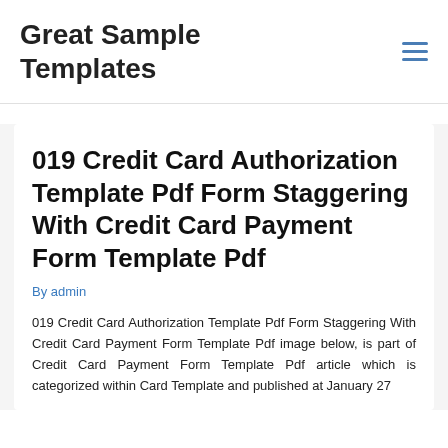Great Sample Templates
019 Credit Card Authorization Template Pdf Form Staggering With Credit Card Payment Form Template Pdf
By admin
019 Credit Card Authorization Template Pdf Form Staggering With Credit Card Payment Form Template Pdf image below, is part of Credit Card Payment Form Template Pdf article which is categorized within Card Template and published at January 27